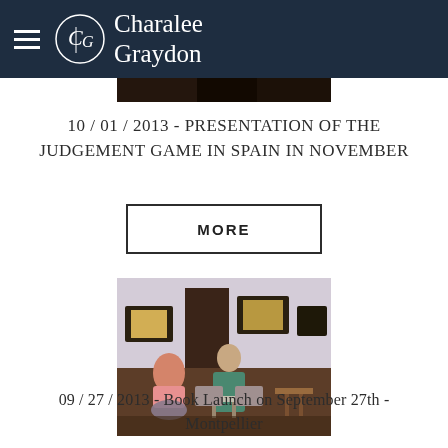Charalee Graydon
[Figure (photo): Cropped dark photo strip at top of content area]
10 / 01 / 2013 - PRESENTATION OF THE JUDGEMENT GAME IN SPAIN IN NOVEMBER
MORE
[Figure (photo): Interior room photo with two people: one seated at left in pink shirt, one standing in teal/green robe near a table with papers; lounge-style setting with lit lamps and wall panels]
09 / 27 / 2013 - Book Launch on September 27th - Montpellier